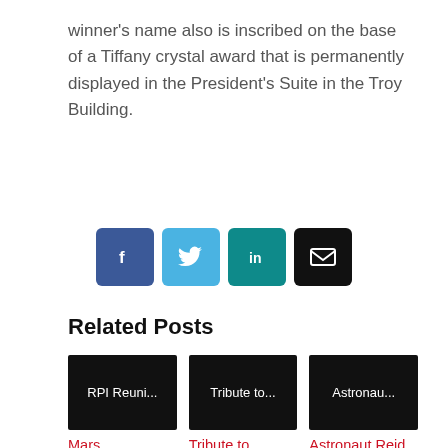winner's name also is inscribed on the base of a Tiffany crystal award that is permanently displayed in the President's Suite in the Troy Building.
[Figure (infographic): Social media share buttons: Facebook (blue), Twitter (light blue), LinkedIn (teal), Email (black)]
Related Posts
[Figure (infographic): Three related post thumbnails with black backgrounds and truncated titles: 'RPI Reuni...', 'Tribute to...', 'Astronau...']
Mars   Tribute to   Astronaut Reid